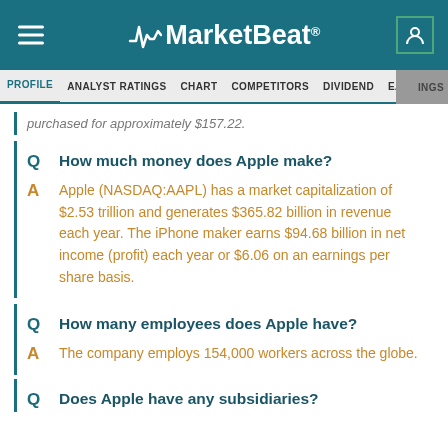MarketBeat
PROFILE  ANALYST RATINGS  CHART  COMPETITORS  DIVIDEND  EARNINGS
purchased for approximately $157.22.
Q  How much money does Apple make?
A  Apple (NASDAQ:AAPL) has a market capitalization of $2.53 trillion and generates $365.82 billion in revenue each year. The iPhone maker earns $94.68 billion in net income (profit) each year or $6.06 on an earnings per share basis.
Q  How many employees does Apple have?
A  The company employs 154,000 workers across the globe.
Q  Does Apple have any subsidiaries?